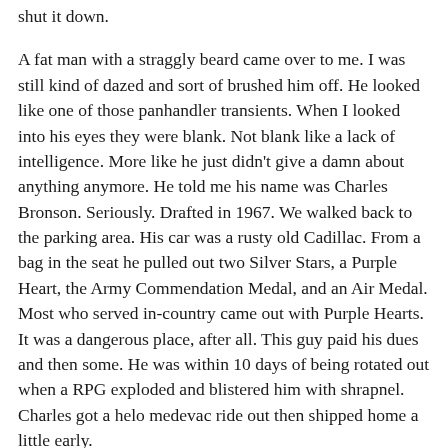shut it down.
A fat man with a straggly beard came over to me. I was still kind of dazed and sort of brushed him off. He looked like one of those panhandler transients. When I looked into his eyes they were blank. Not blank like a lack of intelligence. More like he just didn't give a damn about anything anymore. He told me his name was Charles Bronson. Seriously. Drafted in 1967. We walked back to the parking area. His car was a rusty old Cadillac. From a bag in the seat he pulled out two Silver Stars, a Purple Heart, the Army Commendation Medal, and an Air Medal. Most who served in-country came out with Purple Hearts. It was a dangerous place, after all. This guy paid his dues and then some. He was within 10 days of being rotated out when a RPG exploded and blistered him with shrapnel. Charles got a helo medevac ride out then shipped home a little early.
The guy didn't look like he ever really got past the experience. He's got plenty of company. I was thinking about him, those like him, their families, those who didn't come back, and more. What makes the difference between coming back and moving on or being forever scarred like Charles?